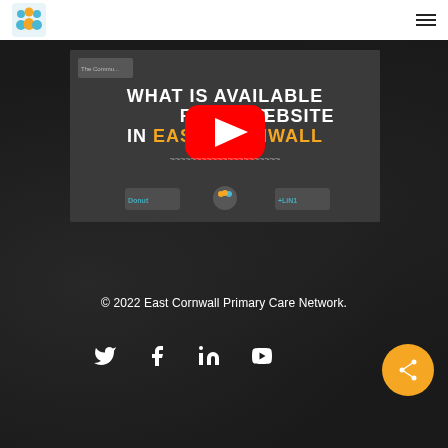[Figure (logo): East Cornwall Primary Care Network logo - orange/teal people icon]
[Figure (screenshot): YouTube video thumbnail showing 'WHAT IS AVAILABLE FROM YOUR WEBSITE IN EAST CORNWALL' with YouTube play button overlay and logos at bottom]
© 2022 East Cornwall Primary Care Network.
[Figure (infographic): Social media icons row: Twitter, Facebook, LinkedIn, YouTube; and an orange share button on the right]